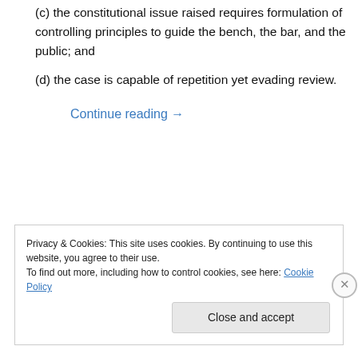(c) the constitutional issue raised requires formulation of controlling principles to guide the bench, the bar, and the public; and
(d) the case is capable of repetition yet evading review.
Continue reading →
Privacy & Cookies: This site uses cookies. By continuing to use this website, you agree to their use.
To find out more, including how to control cookies, see here: Cookie Policy